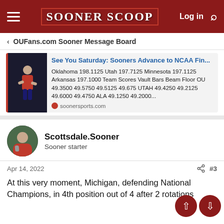SOONER SCOOP
< OUFans.com Sooner Message Board
[Figure (screenshot): Link preview card with thumbnail image of gymnast and article title 'See You Saturday: Sooners Advance to NCAA Fin...' with scores text and soonersports.com source]
Scottsdale.Sooner
Sooner starter
Apr 14, 2022
#3
At this very moment, Michigan, defending National Champions, in 4th position out of 4 after 2 rotations...